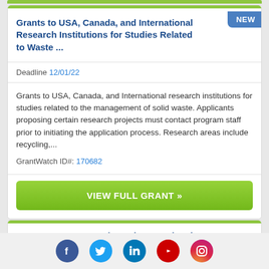Grants to USA, Canada, and International Research Institutions for Studies Related to Waste ...
Deadline 12/01/22
Grants to USA, Canada, and International research institutions for studies related to the management of solid waste. Applicants proposing certain research projects must contact program staff prior to initiating the application process. Research areas include recycling,...
GrantWatch ID#: 170682
VIEW FULL GRANT »
Grants to USA, Canada, and International
[Figure (other): Social media icons row: Facebook (blue circle), Twitter (light blue circle), LinkedIn (dark blue circle), YouTube (red circle), Instagram (gradient circle)]